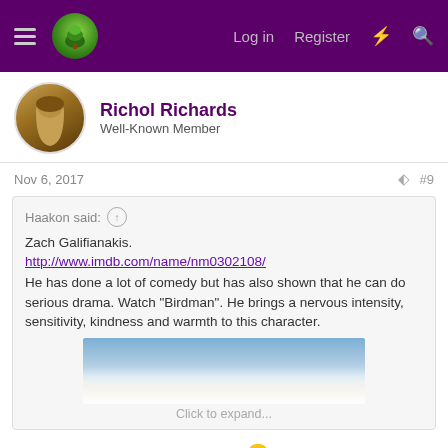Navigation bar with hamburger menu, logo, Log in, Register, and search icons
Richol Richards
Well-Known Member
Nov 6, 2017
#9
Haakon said:
Zach Galifianakis.
http://www.imdb.com/name/nm0302108/
He has done a lot of comedy but has also shown that he can do serious drama. Watch "Birdman". He brings a nervous intensity, sensitivity, kindness and warmth to this character.
Click to expand...
I'd love to see him as a Firebeard. 😀
Haakon